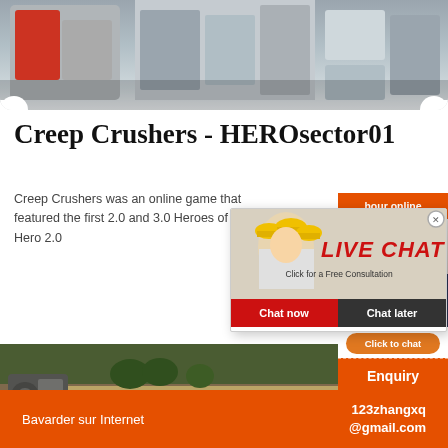[Figure (photo): Top banner showing industrial machinery and equipment in a factory setting]
Creep Crushers - HEROsector01
Creep Crushers was an online game that featured the first 2.0 and 3.0 Heroes of a Hero 2.0
[Figure (screenshot): Live chat popup overlay with workers in yellow hard hats, LIVE CHAT text in red italic, subtitle 'Click for a Free Consultation', Chat now and Chat later buttons]
[Figure (photo): Right sidebar showing customer service agent with headset, orange 'hour online' bar, 'Click to chat' button, and 'Enquiry' section]
[Figure (photo): Bottom left photo showing outdoor industrial equipment on a road]
Bavarder sur Internet
123zhangxq
@gmail.com